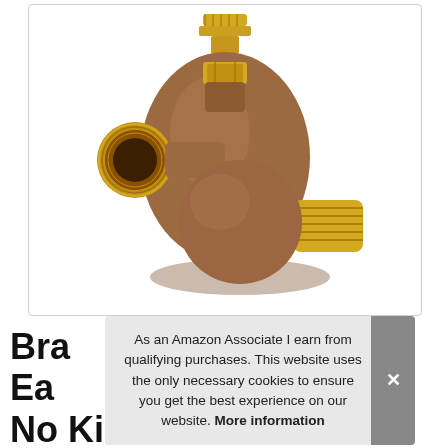[Figure (photo): A bronze/brass anti-kink hose bibb valve with gold-colored threaded fittings — a T-shaped plumbing valve with a knurled top handle, a left-side hose thread outlet, and a bottom right male pipe thread, on a white background inside a rounded-corner border box.]
Bra
Ea
No Kink Hose Bibb Valve
As an Amazon Associate I earn from qualifying purchases. This website uses the only necessary cookies to ensure you get the best experience on our website. More information